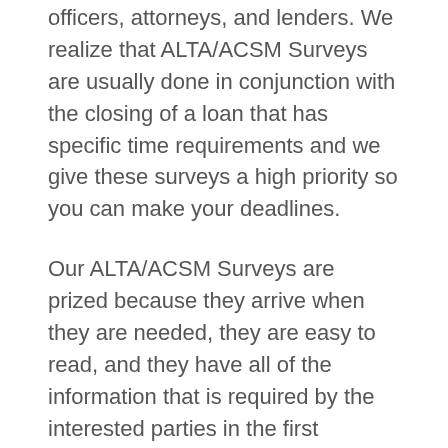officers, attorneys, and lenders. We realize that ALTA/ACSM Surveys are usually done in conjunction with the closing of a loan that has specific time requirements and we give these surveys a high priority so you can make your deadlines.
Our ALTA/ACSM Surveys are prized because they arrive when they are needed, they are easy to read, and they have all of the information that is required by the interested parties in the first submittal.